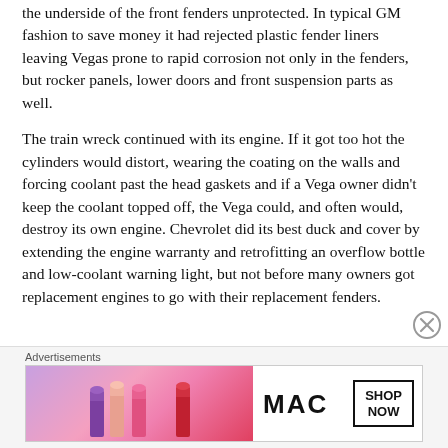the underside of the front fenders unprotected. In typical GM fashion to save money it had rejected plastic fender liners leaving Vegas prone to rapid corrosion not only in the fenders, but rocker panels, lower doors and front suspension parts as well.
The train wreck continued with its engine. If it got too hot the cylinders would distort, wearing the coating on the walls and forcing coolant past the head gaskets and if a Vega owner didn't keep the coolant topped off, the Vega could, and often would, destroy its own engine. Chevrolet did its best duck and cover by extending the engine warranty and retrofitting an overflow bottle and low-coolant warning light, but not before many owners got replacement engines to go with their replacement fenders.
Advertisements
[Figure (photo): MAC cosmetics advertisement showing lipsticks in purple, peach, and red colors with MAC logo and SHOP NOW button]